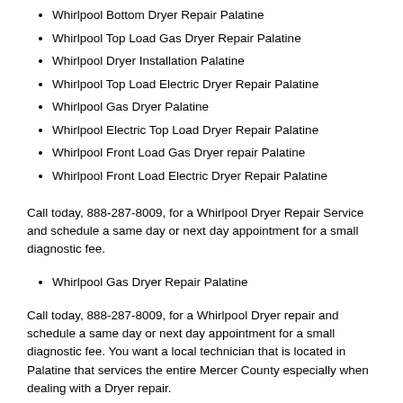Whirlpool  Bottom Dryer Repair Palatine
Whirlpool  Top Load Gas Dryer Repair Palatine
Whirlpool  Dryer Installation Palatine
Whirlpool  Top Load Electric Dryer Repair Palatine
Whirlpool  Gas Dryer Palatine
Whirlpool  Electric Top Load  Dryer Repair Palatine
Whirlpool  Front Load Gas Dryer repair Palatine
Whirlpool  Front Load Electric Dryer Repair Palatine
Call today, 888-287-8009, for a  Whirlpool  Dryer Repair Service and schedule a same day or next day appointment for a small diagnostic fee.
Whirlpool  Gas Dryer Repair Palatine
Call today, 888-287-8009, for a Whirlpool  Dryer repair and  schedule a same day or next day appointment for a small diagnostic fee. You want a local technician that is located in Palatine that services the entire Mercer County especially when dealing with a Dryer repair.
Whirlpool WED7500VW